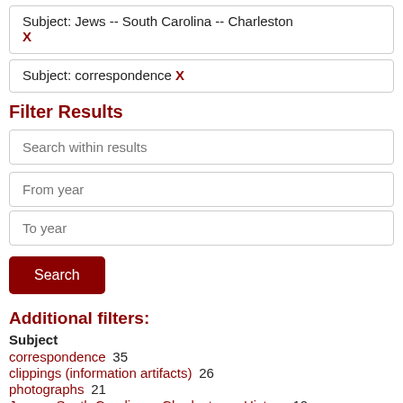Subject: Jews -- South Carolina -- Charleston X
Subject: correspondence X
Filter Results
Search within results
From year
To year
Search
Additional filters:
Subject
correspondence  35
clippings (information artifacts)  26
photographs  21
Jews -- South Carolina -- Charleston -- History  10